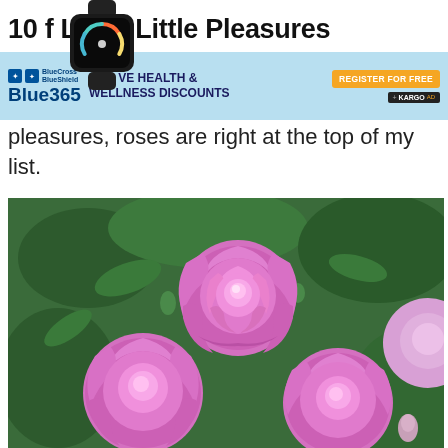10 of Life's Little Pleasures
[Figure (other): BlueCross BlueShield Blue365 advertisement banner - Exclusive Health & Wellness Discounts, Register for Free, Kargo Ad]
pleasures, roses are right at the top of my list.
[Figure (photo): Close-up photo of pink/lavender roses in bloom with green foliage in the background]